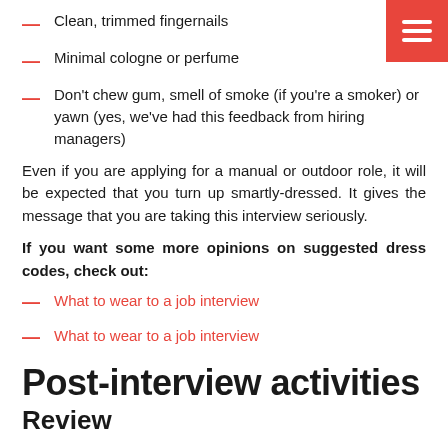Clean, trimmed fingernails
Minimal cologne or perfume
Don't chew gum, smell of smoke (if you're a smoker) or yawn (yes, we've had this feedback from hiring managers)
Even if you are applying for a manual or outdoor role, it will be expected that you turn up smartly-dressed. It gives the message that you are taking this interview seriously.
If you want some more opinions on suggested dress codes, check out:
What to wear to a job interview
What to wear to a job interview
Post-interview activities
Review